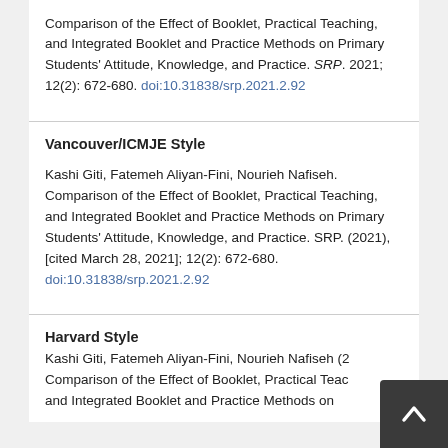Comparison of the Effect of Booklet, Practical Teaching, and Integrated Booklet and Practice Methods on Primary Students' Attitude, Knowledge, and Practice. SRP. 2021; 12(2): 672-680. doi:10.31838/srp.2021.2.92
Vancouver/ICMJE Style
Kashi Giti, Fatemeh Aliyan-Fini, Nourieh Nafiseh. Comparison of the Effect of Booklet, Practical Teaching, and Integrated Booklet and Practice Methods on Primary Students' Attitude, Knowledge, and Practice. SRP. (2021), [cited March 28, 2021]; 12(2): 672-680. doi:10.31838/srp.2021.2.92
Harvard Style
Kashi Giti, Fatemeh Aliyan-Fini, Nourieh Nafiseh (2... Comparison of the Effect of Booklet, Practical Teac... and Integrated Booklet and Practice Methods on